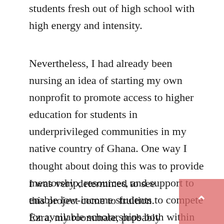students fresh out of high school with high energy and intensity.
Nevertheless, I had already been nursing an idea of starting my own nonprofit to promote access to higher education for students in underprivileged communities in my native country of Ghana. One way I thought about doing this was to provide mentorship, resources, and support to enable low-income students to compete for available scholarships both within Ghana and abroad to pursue college education.
I was very determined to see this project come to fruition. Ezra, my roommate, probably grew tired of hearing me talk about this project every night